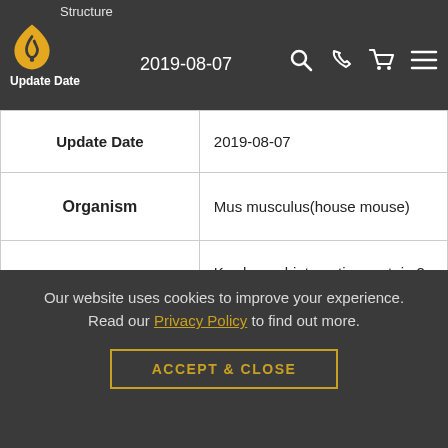Structure — Update Date: 2019-08-07
| Field | Value |
| --- | --- |
| Update Date | 2019-08-07 |
| Organism | Mus musculus(house mouse) |
| Product | Kv channel-interacting protein 2 isoform X2 |
| Comment | Comment: MODEL REFSEQ: This record is predicted by automated computational analysis. This record is derived from a genomic sequence (NC_000085.6) annotated using gene prediction method: Gnomon, supported by |
Our website uses cookies to improve your experience. Read our Privacy Policy to find out more.
ACCEPT & CLOSE